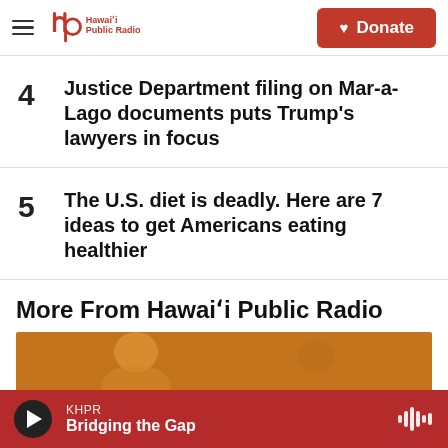Hawaiʻi Public Radio — Donate
4  Justice Department filing on Mar-a-Lago documents puts Trump's lawyers in focus
5  The U.S. diet is deadly. Here are 7 ideas to get Americans eating healthier
More From Hawaiʻi Public Radio
[Figure (photo): Partial photo of a person, used as a thumbnail for More From Hawaiʻi Public Radio section]
KHPR — Bridging the Gap (audio player bar)